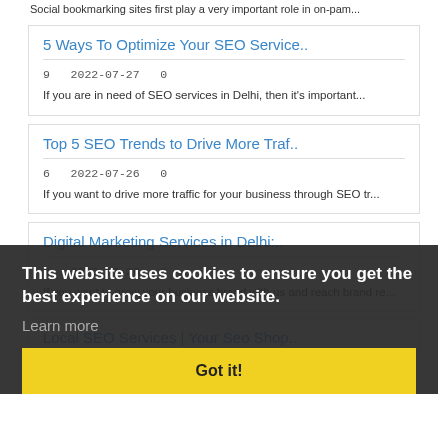Social bookmarking sites first play a very important role in on-pam...
5 Ways To Optimize Your SEO Service..
9   2022-07-27   0
If you are in need of SEO services in Delhi, then it's important...
Top 5 SEO Trends to Drive More Traf..
6   2022-07-26   0
If you want to drive more traffic for your business through SEO tr...
Digital Marketing Services in Delhi:..
6   2022-07-26   0
If you want to grow your business brand with us and reach brand re...
Local SEO Services | Your Seo Shop..
This website uses cookies to ensure you get the best experience on our website.
Learn more
Got it!